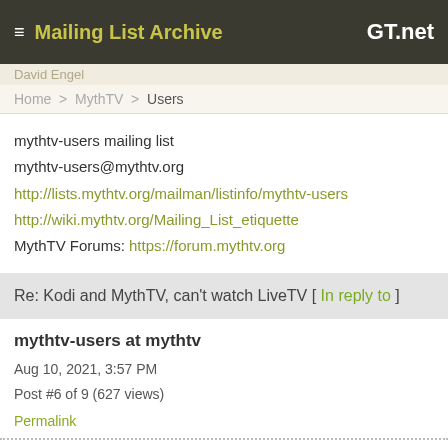≡ Mailing List Archive   GT.net
David Engel
Home > MythTV > Users
mythtv-users mailing list
mythtv-users@mythtv.org
http://lists.mythtv.org/mailman/listinfo/mythtv-users
http://wiki.mythtv.org/Mailing_List_etiquette
MythTV Forums: https://forum.mythtv.org
Re: Kodi and MythTV, can't watch LiveTV [ In reply to ]
mythtv-users at mythtv
Aug 10, 2021, 3:57 PM
Post #6 of 9 (627 views)
Permalink
>Leanfront UI is pretty poor I found, getting to the Live TV channels
>takes lots of keypresses and playback take over 15s to start.